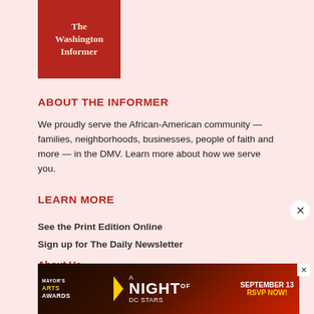[Figure (logo): The Washington Informer logo — white text on dark red square background]
ABOUT THE INFORMER
We proudly serve the African-American community — families, neighborhoods, businesses, people of faith and more — in the DMV. Learn more about how we serve you.
See the Print Edition Online
Sign up for The Daily Newsletter
LEARN MORE
About Us
Newsletters
[Figure (infographic): Mayor's Arts Awards — A Night of DC Stars — September 13 — RSVP Now! advertisement banner]